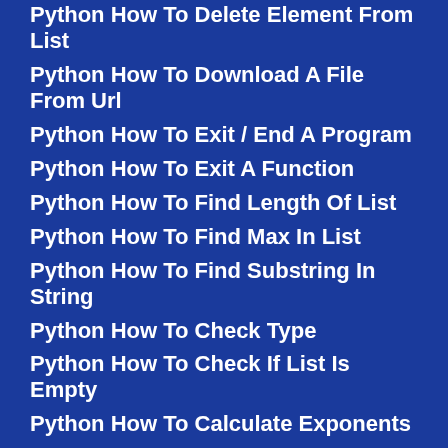Python How To Delete Element From List
Python How To Download A File From Url
Python How To Exit / End A Program
Python How To Exit A Function
Python How To Find Length Of List
Python How To Find Max In List
Python How To Find Substring In String
Python How To Check Type
Python How To Check If List Is Empty
Python How To Calculate Exponents
Python How To Empty / Clear A List
Python How To Get Current Directory
Python How To Limit Decimal Places
Python How To Log Errors
Python How To Navigate A Page...